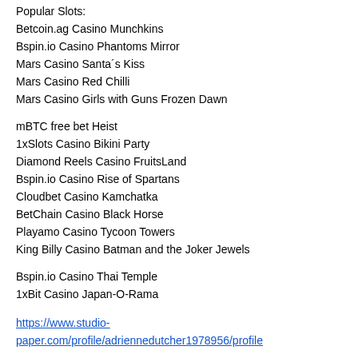Popular Slots:
Betcoin.ag Casino Munchkins
Bspin.io Casino Phantoms Mirror
Mars Casino Santa´s Kiss
Mars Casino Red Chilli
Mars Casino Girls with Guns Frozen Dawn
mBTC free bet Heist
1xSlots Casino Bikini Party
Diamond Reels Casino FruitsLand
Bspin.io Casino Rise of Spartans
Cloudbet Casino Kamchatka
BetChain Casino Black Horse
Playamo Casino Tycoon Towers
King Billy Casino Batman and the Joker Jewels
Bspin.io Casino Thai Temple
1xBit Casino Japan-O-Rama
https://www.studio-paper.com/profile/adriennedutcher1978956/profile